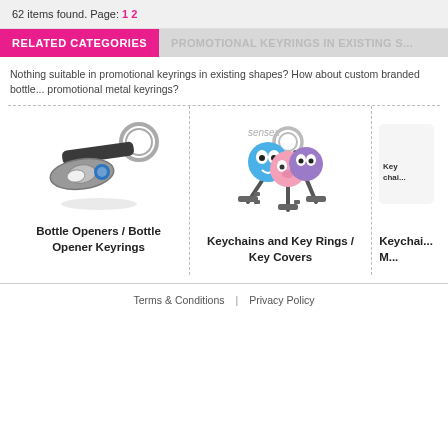62 items found. Page: 1 2
RELATED CATEGORIES
PROMOTIONAL KEYRINGS IN EXISTING S...
Nothing suitable in promotional keyrings in existing shapes? How about custom branded bottle... promotional metal keyrings?
[Figure (photo): Bottle opener keyring product photo - metal bottle opener with key ring]
Bottle Openers / Bottle Opener Keyrings
[Figure (photo): Keychains and key rings with colorful animal key covers - sensex brand]
Keychains and Key Rings / Key Covers
[Figure (photo): Partial view of Keychain M... product]
Keychai... M...
Terms & Conditions | Privacy Policy